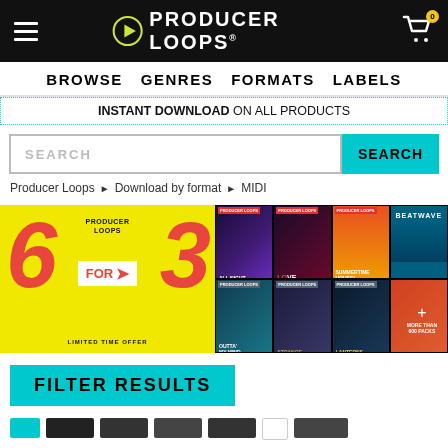Producer Loops - navigation header with logo, hamburger menu, and cart
BROWSE   GENRES   FORMATS   LABELS
INSTANT DOWNLOAD ON ALL PRODUCTS
SEARCH
Producer Loops ▶ Download by format ▶ MIDI
[Figure (infographic): Promotional banner: '6 FOR 3 LIMITED TIME OFFER' on yellow background with music pack cover images on the right]
FILTER RESULTS
Color filter tags row